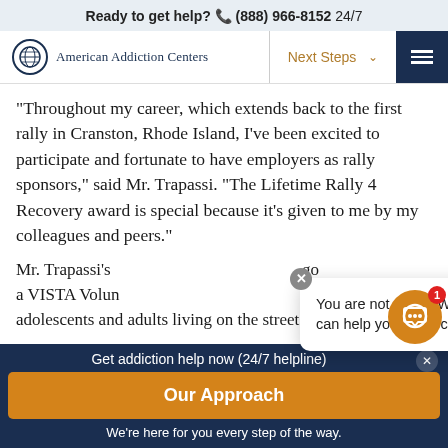Ready to get help? (888) 966-8152 24/7
[Figure (logo): American Addiction Centers logo with circular globe icon and text]
"Throughout my career, which extends back to the first rally in Cranston, Rhode Island, I've been excited to participate and fortunate to have employers as rally sponsors," said Mr. Trapassi. "The Lifetime Rally 4 Recovery award is special because it's given to me by my colleagues and peers."
Mr. Trapassi's [text obscured by chat popup] ago a VISTA Volun[teer] adolescents and adults living on the streets of
Get addiction help now (24/7 helpline) Our Approach We're here for you every step of the way.